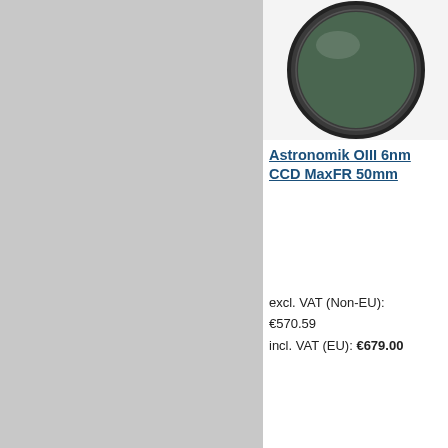[Figure (photo): Grey sidebar area on the left, approximately half the page width]
[Figure (photo): Circular camera/telescope filter product image, dark green glass, black metal rim — top portion visible]
Astronomik OIII 6nm CCD MaxFR 50mm
excl. VAT (Non-EU): €570.59
incl. VAT (EU): €679.00
Details
[Figure (photo): Second product filter image partially visible on right edge]
Astro... CCD M...
excl. VA...
€570.59
incl. VAT...
Detai...
3 Item(s)
View as: List  Grid
[Figure (photo): Footer image strip showing astronomy photos: Saturn, nebula, colorful nebula, spiral galaxy, spiral galaxy, moon surface, star field, horsehead nebula — dark background thumbnails]